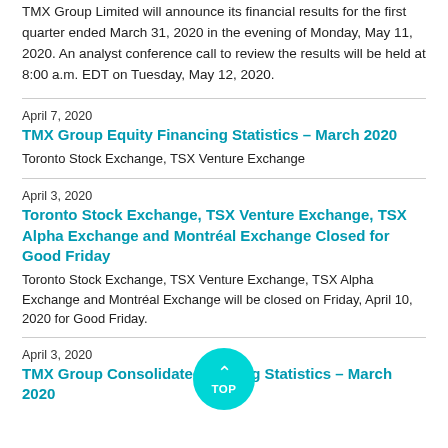TMX Group Limited will announce its financial results for the first quarter ended March 31, 2020 in the evening of Monday, May 11, 2020. An analyst conference call to review the results will be held at 8:00 a.m. EDT on Tuesday, May 12, 2020.
April 7, 2020
TMX Group Equity Financing Statistics – March 2020
Toronto Stock Exchange, TSX Venture Exchange
April 3, 2020
Toronto Stock Exchange, TSX Venture Exchange, TSX Alpha Exchange and Montréal Exchange Closed for Good Friday
Toronto Stock Exchange, TSX Venture Exchange, TSX Alpha Exchange and Montréal Exchange will be closed on Friday, April 10, 2020 for Good Friday.
April 3, 2020
TMX Group Consolidated Trading Statistics – March 2020